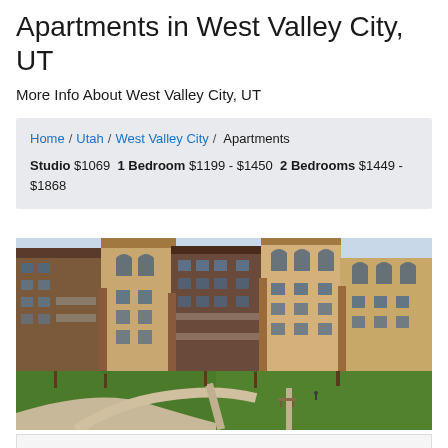Apartments in West Valley City, UT
More Info About West Valley City, UT
Home / Utah / West Valley City / Apartments  Studio $1069  1 Bedroom $1199 - $1450  2 Bedrooms $1449 - $1868
[Figure (photo): Aerial view of apartment complex in West Valley City, UT with brick buildings, green lawns, walkways, and trees]